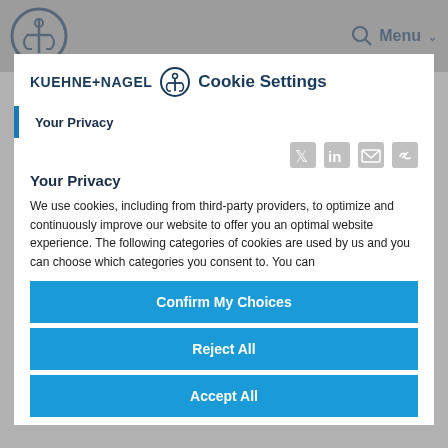Kuehne+Nagel navigation bar with logo and Menu
[Figure (screenshot): Kuehne+Nagel website background page with greyed-out text about technology-based solutions and digitalisation]
KUEHNE+NAGEL Cookie Settings
Your Privacy
Your Privacy
We use cookies, including from third-party providers, to optimize and continuously improve our website to offer you an optimal website experience. The following categories of cookies are used by us and you can choose which categories you consent to. You can
Confirm My Choices
Reject All
Accept All